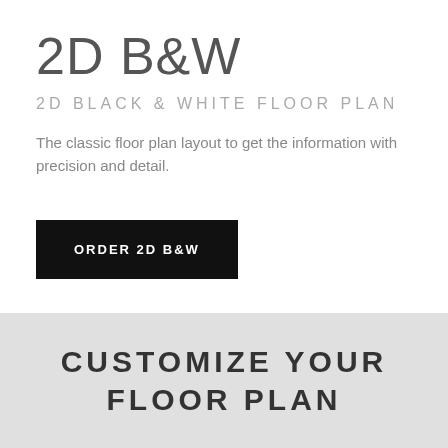2D B&W
2D BLACK & WHITE FLOOR PLAN
The classic floor plan layout to get the information with precision and detail.
ORDER 2D B&W
CUSTOMIZE YOUR FLOOR PLAN